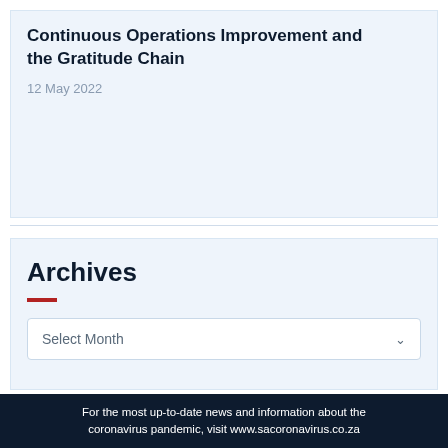Continuous Operations Improvement and the Gratitude Chain
12 May 2022
Archives
Select Month
For the most up-to-date news and information about the coronavirus pandemic, visit www.sacoronavirus.co.za